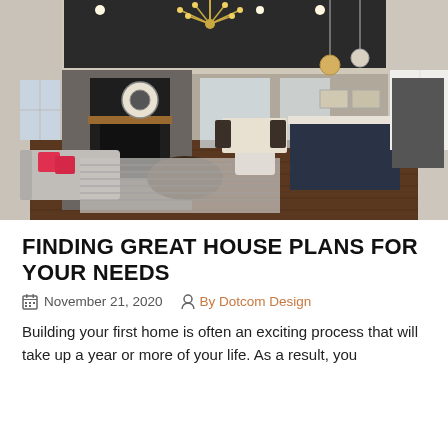[Figure (photo): Interior photo of a modern open-plan home showing a living room with a fireplace and dark tray ceiling with a gold chandelier, a kitchen island, and hardwood floors.]
FINDING GREAT HOUSE PLANS FOR YOUR NEEDS
November 21, 2020   By Dotcom Design
Building your first home is often an exciting process that will take up a year or more of your life. As a result, you